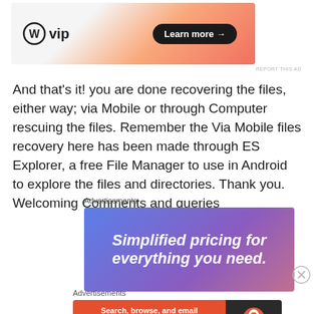[Figure (other): WordPress VIP advertisement banner with orange gradient background, WP logo on left and 'Learn more →' button on right]
And that's it! you are done recovering the files, either way; via Mobile or through Computer rescuing the files. Remember the Via Mobile files recovery here has been made through ES Explorer, a free File Manager to use in Android to explore the files and directories. Thank you. Welcoming Comments and queries
Advertisements
[Figure (other): Advertisement banner with purple-blue gradient background reading 'Simplified pricing for everything you need.']
Advertisements
[Figure (other): DuckDuckGo advertisement: 'Search, browse, and email with more privacy. All in One Free App' on orange background with DuckDuckGo logo on dark right side]